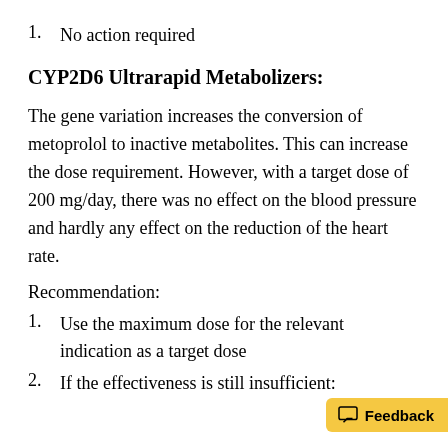1. No action required
CYP2D6 Ultrarapid Metabolizers:
The gene variation increases the conversion of metoprolol to inactive metabolites. This can increase the dose requirement. However, with a target dose of 200 mg/day, there was no effect on the blood pressure and hardly any effect on the reduction of the heart rate.
Recommendation:
1. Use the maximum dose for the relevant indication as a target dose
2. If the effectiveness is still insufficient: